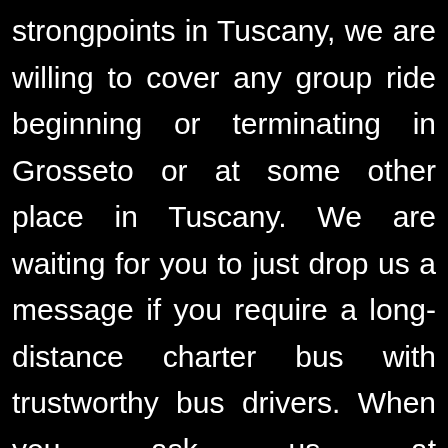strongpoints in Tuscany, we are willing to cover any group ride beginning or terminating in Grosseto or at some other place in Tuscany. We are waiting for you to just drop us a message if you require a long-distance charter bus with trustworthy bus drivers. When you ask us at info@italybuses.com referring to your upcoming vehicle hire for a far-reaching LDC excursion in Europe, please think of